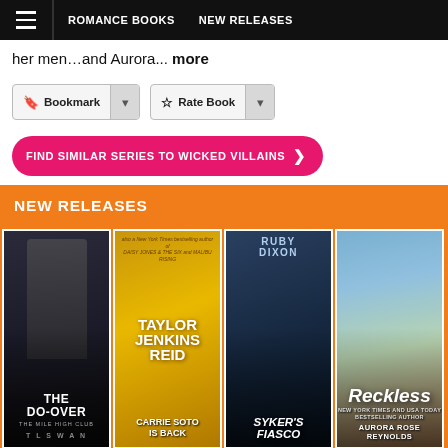ROMANCE BOOKS  NEW RELEASES
her men…and Aurora... more
Bookmark
Rate Book
FIND SIMILAR SERIES TO WICKED VILLAINS ❯
NEW RELEASES
[Figure (illustration): Book cover: THE DO-OVER, THE MILE HIGH CLUB, by T L SWAN. Dark background with a man in suit.]
[Figure (illustration): Book cover: CARRIE SOTO IS BACK, by TAYLOR JENKINS REID. Gold background with woman looking up.]
[Figure (illustration): Book cover: SYKER'S FIASCO by RUBY DIXON. Dark blue background with fantasy characters.]
[Figure (illustration): Book cover: Reckless by AURORA ROSE REYNOLDS. Outdoor scenery with couple embracing.]